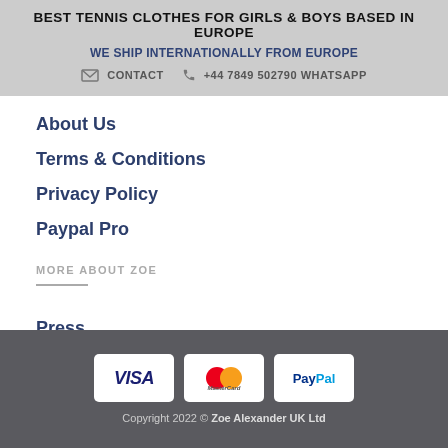BEST TENNIS CLOTHES FOR GIRLS & BOYS BASED IN EUROPE
WE SHIP INTERNATIONALLY FROM EUROPE
CONTACT   +44 7849 502790 WHATSAPP
About Us
Terms & Conditions
Privacy Policy
Paypal Pro
MORE ABOUT ZOE
Press
Copyright 2022 © Zoe Alexander UK Ltd